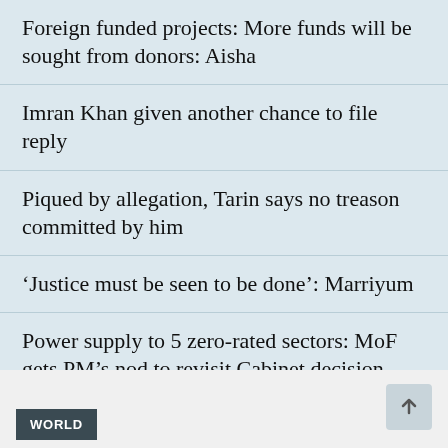Foreign funded projects: More funds will be sought from donors: Aisha
Imran Khan given another chance to file reply
Piqued by allegation, Tarin says no treason committed by him
‘Justice must be seen to be done’: Marriyum
Power supply to 5 zero-rated sectors: MoF gets PM’s nod to revisit Cabinet decision
Constitutionality of Section 7E of IT Ord, 2001: LHC issues notices to federal, Punjab secretaries and FBR
READ MORE STORIES
WORLD